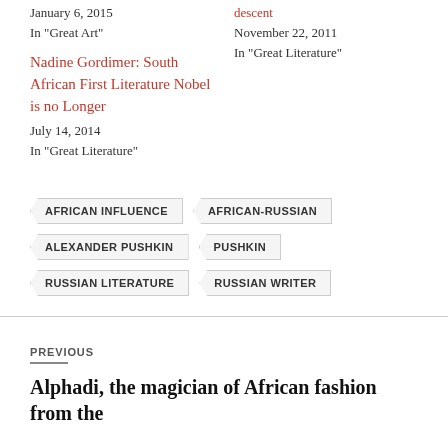January 6, 2015
In "Great Art"
descent
November 22, 2011
In "Great Literature"
Nadine Gordimer: South African First Literature Nobel is no Longer
July 14, 2014
In "Great Literature"
AFRICAN INFLUENCE
AFRICAN-RUSSIAN
ALEXANDER PUSHKIN
PUSHKIN
RUSSIAN LITERATURE
RUSSIAN WRITER
PREVIOUS
Alphadi, the magician of African fashion from the